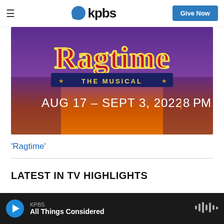≡  kpbs  Give Now
[Figure (illustration): Ragtime The Musical promotional banner. Purple to orange gradient background with ornate 'Ragtime' lettering in red/gold, subtitle '* THE MUSICAL *' in a dark banner, and text 'AUG 17 – SEPT 3, 2022 | 8 PM' in white below.]
'Ragtime'
LATEST IN TV HIGHLIGHTS
KPBS  All Things Considered